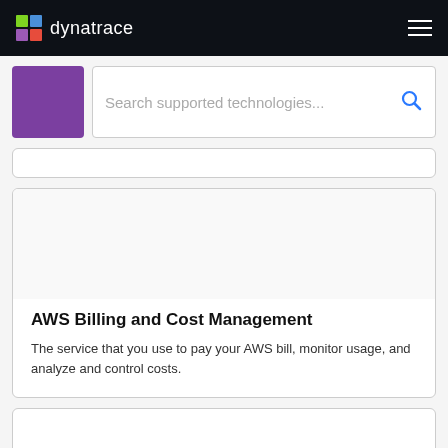dynatrace
[Figure (logo): Dynatrace logo with colorful cube icon and white text on dark navy background]
[Figure (screenshot): Purple square icon placeholder and search input field with placeholder text 'Search supported technologies...' and blue search icon]
Search supported technologies...
AWS Billing and Cost Management
The service that you use to pay your AWS bill, monitor usage, and analyze and control costs.